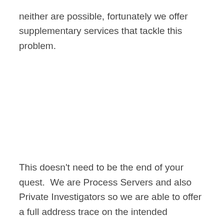neither are possible, fortunately we offer supplementary services that tackle this problem.
This doesn't need to be the end of your quest.  We are Process Servers and also Private Investigators so we are able to offer a full address trace on the intended